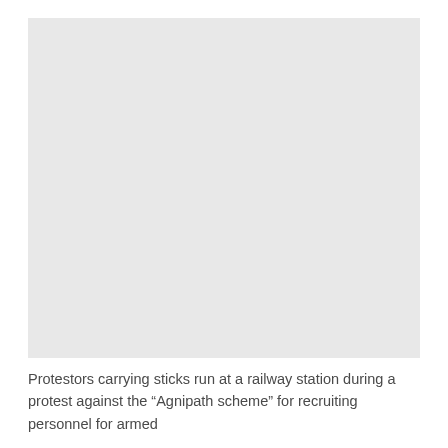[Figure (photo): Photo of protestors carrying sticks running at a railway station during a protest against the Agnipath scheme]
Protestors carrying sticks run at a railway station during a protest against the “Agnipath scheme” for recruiting personnel for armed